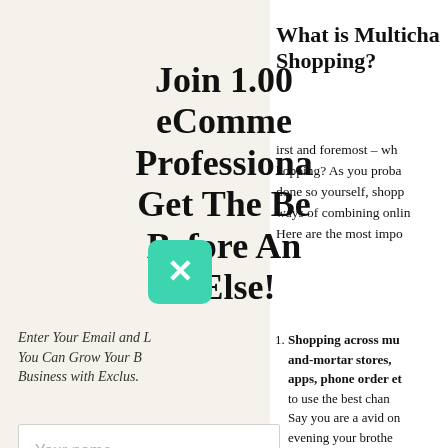Join 1.00 eCommerce Professionals Get The Best Before Any Else!
Enter Your Email and L You Can Grow Your B Business with Exclus.
Your name
What is Multichannel Shopping?
First and foremost – wh hopping? As you proba done so yourself, shopp ways of combining onlin Here are the most impo
Shopping across mu and-mortar stores, apps, phone order et to use the best chan Say you are a avid on evening your brother anniversary and you